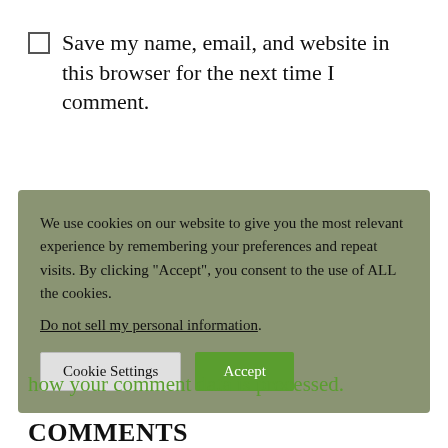Save my name, email, and website in this browser for the next time I comment.
We use cookies on our website to give you the most relevant experience by remembering your preferences and repeat visits. By clicking “Accept”, you consent to the use of ALL the cookies. Do not sell my personal information.
how your comment data is processed.
COMMENTS